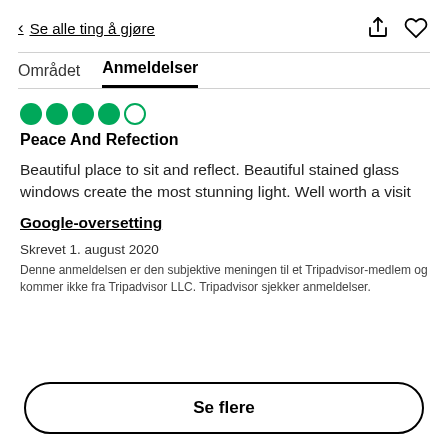< Se alle ting å gjøre
Området   Anmeldelser
[Figure (other): 4.5 star rating shown as 4 filled green circles and 1 empty green circle]
Peace And Refection
Beautiful place to sit and reflect. Beautiful stained glass windows create the most stunning light. Well worth a visit
Google-oversetting
Skrevet 1. august 2020
Denne anmeldelsen er den subjektive meningen til et Tripadvisor-medlem og kommer ikke fra Tripadvisor LLC. Tripadvisor sjekker anmeldelser.
Se flere